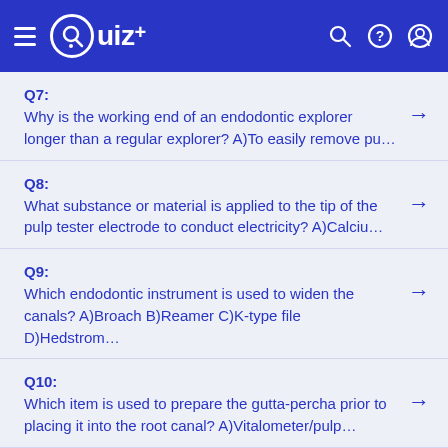Quiz+
Q7: Why is the working end of an endodontic explorer longer than a regular explorer? A)To easily remove pu…
Q8: What substance or material is applied to the tip of the pulp tester electrode to conduct electricity? A)Calciu…
Q9: Which endodontic instrument is used to widen the canals? A)Broach B)Reamer C)K-type file D)Hedstrom…
Q10: Which item is used to prepare the gutta-percha prior to placing it into the root canal? A)Vitalometer/pulp…
Q11: Which instrument is used to remove the pulp tissue from a canal? A)Broach B)Reamer C)K-type file…